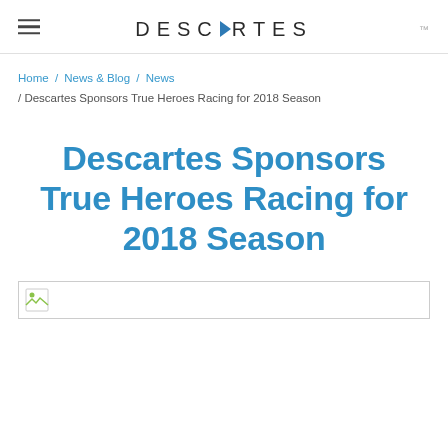DESCARTES
Home / News & Blog / News / Descartes Sponsors True Heroes Racing for 2018 Season
Descartes Sponsors True Heroes Racing for 2018 Season
[Figure (other): Broken/missing image placeholder with small image icon]